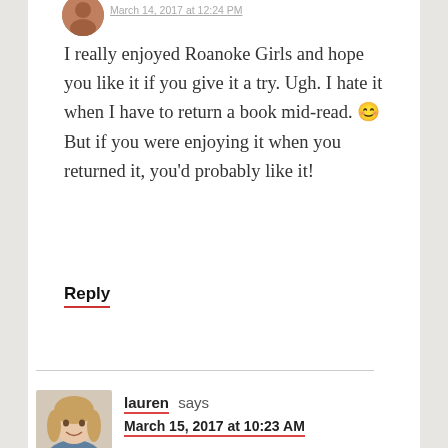I really enjoyed Roanoke Girls and hope you like it if you give it a try. Ugh. I hate it when I have to return a book mid-read. 😊 But if you were enjoying it when you returned it, you'd probably like it!
Reply
lauren says
March 15, 2017 at 10:23 AM